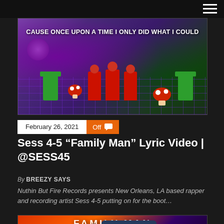[Figure (photo): Music video screenshot with text overlay reading 'CAUSE ONCE UPON A TIME I ONLY DID WHAT I COULD', showing people in red shirts against a colorful Mario-themed background with pipes and mushrooms]
February 26, 2021
Off
Sess 4-5 “Family Man” Lyric Video | @SESS45
By BREEZY SAYS
Nuthin But Fire Records presents New Orleans, LA based rapper and recording artist Sess 4-5 putting on for the boot…
[Figure (photo): Family Man music video promotional image showing a car and person against colorful background with 'FAMILY MAN' text]